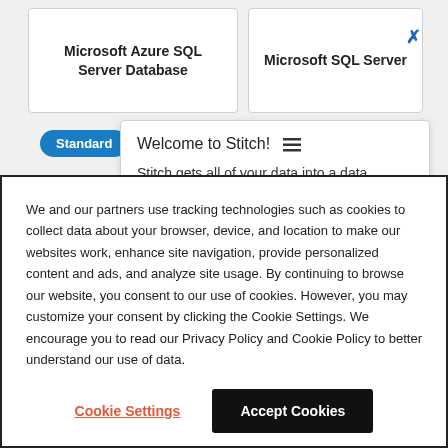[Figure (screenshot): Screenshot of a web interface showing two cards: 'Microsoft Azure SQL Server Database' and 'Microsoft SQL Server', with a Standard button, a tooltip popup saying 'Welcome to Stitch!' with body text, and a cookie consent banner overlay.]
Microsoft Azure SQL Server Database
Microsoft SQL Server
Welcome to Stitch! Stitch gets all of your data into a data warehouse in minutes. Ready to get started?
We and our partners use tracking technologies such as cookies to collect data about your browser, device, and location to make our websites work, enhance site navigation, provide personalized content and ads, and analyze site usage. By continuing to browse our website, you consent to our use of cookies. However, you may customize your consent by clicking the Cookie Settings. We encourage you to read our Privacy Policy and Cookie Policy to better understand our use of data.
Cookie Settings
Accept Cookies